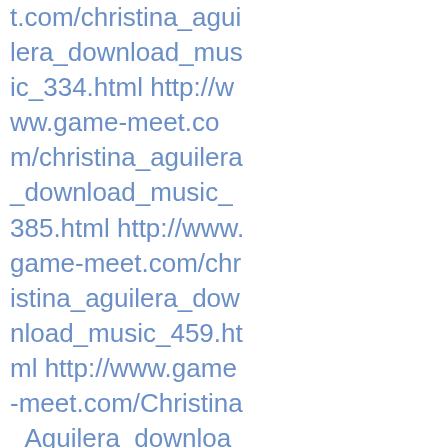t.com/christina_aguilera_download_music_334.html http://www.game-meet.com/christina_aguilera_download_music_385.html http://www.game-meet.com/christina_aguilera_download_music_459.html http://www.game-meet.com/Christina_Aguilera_download_music_sites_43.html http://www.game-meet.com/christina_aguilera_download_music_sites_438.html http://www.game-meet.com/christina_aguilera_download_music_sites_444.html http://www.game-meet.com/Christina_Aguilera_downloads_23.html http://www.game-meet.com/Christina_Aguilera_downloads_69.html http://www.game